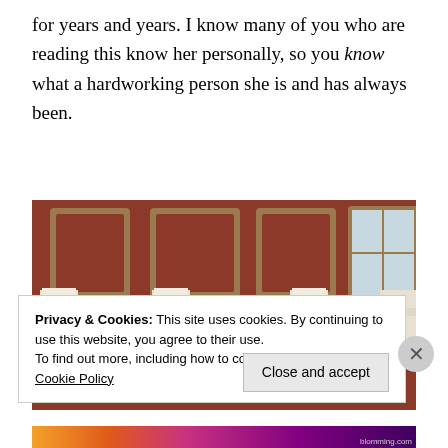for years and years. I know many of you who are reading this know her personally, so you know what a hardworking person she is and has always been.
[Figure (photo): Photograph of a brick building facade with a white stone balustrade featuring decorative balusters and pilasters, with arched brick decorative panels visible above.]
Privacy & Cookies: This site uses cookies. By continuing to use this website, you agree to their use.
To find out more, including how to control cookies, see here: Cookie Policy